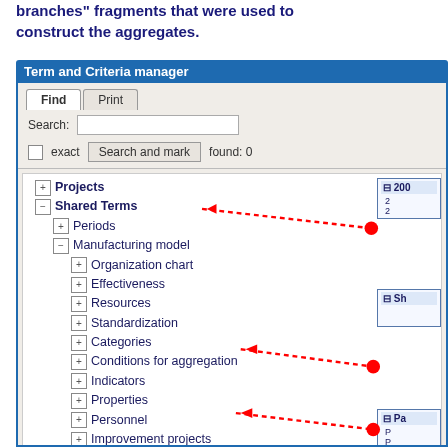branches" fragments that were used to construct the aggregates.
[Figure (screenshot): Term and Criteria manager window showing a tree view with Projects, Shared Terms (containing Periods, Manufacturing model with sub-items like Organization chart, Effectiveness, Resources, Standardization, Categories, Conditions for aggregation, Indicators, Properties, Personnel, Improvement projects, Operations, For projects), Counters enumerators with Enumeratation. Red dotted arrows point from Periods, Properties, and Operations to boxes on the right side of the panel.]